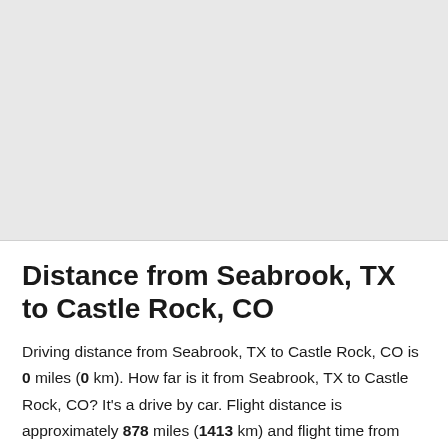Distance from Seabrook, TX to Castle Rock, CO
Driving distance from Seabrook, TX to Castle Rock, CO is 0 miles (0 km). How far is it from Seabrook, TX to Castle Rock, CO? It's a drive by car. Flight distance is approximately 878 miles (1413 km) and flight time from